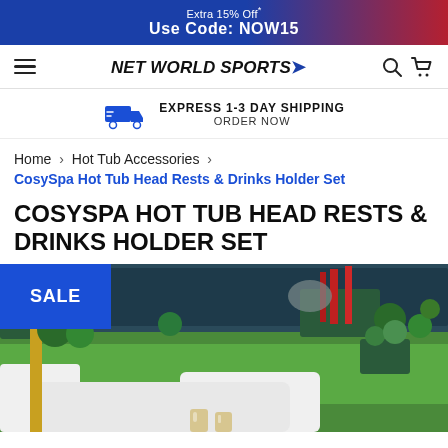Extra 15% Off* Use Code: NOW15
NET WORLD SPORTS
EXPRESS 1-3 DAY SHIPPING ORDER NOW
Home > Hot Tub Accessories >
CosySpa Hot Tub Head Rests & Drinks Holder Set
COSYSPA HOT TUB HEAD RESTS & DRINKS HOLDER SET
[Figure (photo): Garden scene with white hot tub surround, green lawn, flower beds with red and green plants, blue fencing in the background. A SALE badge overlay in the top-left corner. Two drink glasses visible at the bottom center.]